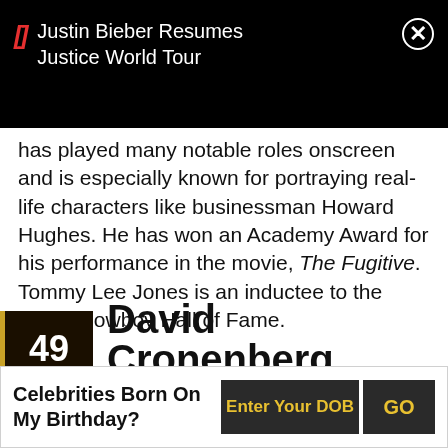[Figure (screenshot): Black notification banner showing 'Justin Bieber Resumes Justice World Tour' with red bracket icon and white X close button]
has played many notable roles onscreen and is especially known for portraying real-life characters like businessman Howard Hughes. He has won an Academy Award for his performance in the movie, The Fugitive. Tommy Lee Jones is an inductee to the Texas Cowboy Hall of Fame.
49 David Cronenberg
(Film Director Known for Body Horror Genre Films Such as 'Shivers', 'Scanners' and 'Videodrome')
Celebrities Born On My Birthday? Enter Your DOB GO